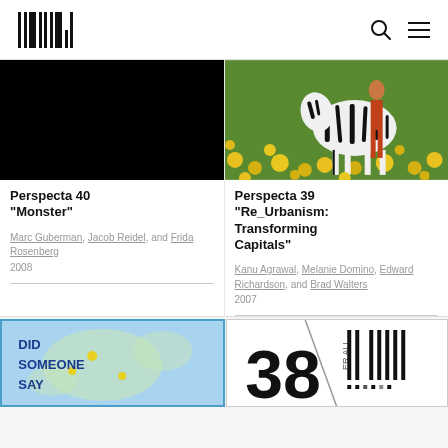MIT Press logo and navigation icons
[Figure (photo): Black cover image for Perspecta 40 Monster]
Perspecta 40 "Monster"
Marc Guberman, Jacob Reidel, and Frida Rosenberg
2008
[Figure (photo): Color photo of a zebra standing in a field of yellow flowers for Perspecta 39]
Perspecta 39 "Re_Urbanism: Transforming Capitals"
Kanu Agrawal, Melanie Domino, Edward Richardson, and Brad Walters
2007
[Figure (illustration): Blue map illustration with text DID SOMEONE SAY]
[Figure (illustration): Black and white design with number 38 and bar code elements]